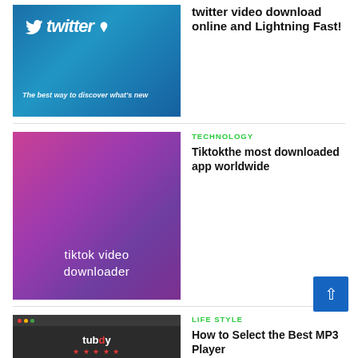[Figure (screenshot): Twitter logo screenshot with blue background and tagline 'The best way to discover what's new']
twitter video download online and Lightning Fast!
[Figure (screenshot): TikTok video downloader app image with purple/pink gradient background showing text 'tiktok video downloader']
TECHNOLOGY
Tiktokthe most downloaded app worldwide
[Figure (screenshot): Tubdy search engine website screenshot on dark background]
LIFE STYLE
How to Select the Best MP3 Player
[Figure (photo): Sports section thumbnail image (gray)]
SPORTS